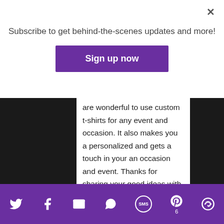Subscribe to get behind-the-scenes updates and more!
Sign up now
are wonderful to use custom t-shirts for any event and occasion. It also makes you a personalized and gets a touch in your an occasion and event. Thanks for sharing your good ideas with us. Keep sharing other information.
NICOLE
April 2, 2019 at 8:39 am
Reply
It’s a great way to save the
Twitter Facebook Email WhatsApp SMS Pinterest 6 Share